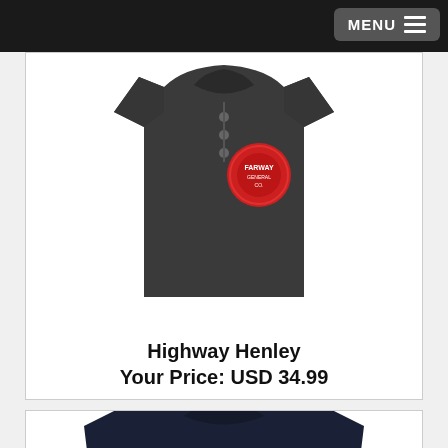MENU
[Figure (photo): Dark charcoal heather henley shirt with red circular logo patch and button placket at neck, displayed on white background]
Highway Henley
Your Price: USD 34.99
[Figure (photo): Dark navy t-shirt with geometric orange and teal/blue line art graphic on chest, partially visible at bottom of page]